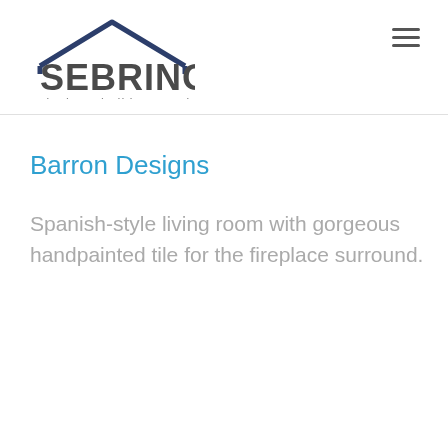SEBRING design • build • remodel
Barron Designs
Spanish-style living room with gorgeous handpainted tile for the fireplace surround.